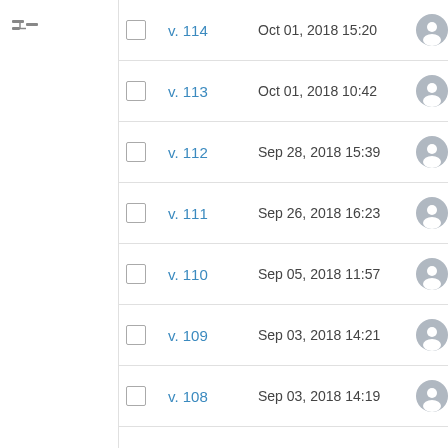v. 114  Oct 01, 2018 15:20
v. 113  Oct 01, 2018 10:42
v. 112  Sep 28, 2018 15:39
v. 111  Sep 26, 2018 16:23
v. 110  Sep 05, 2018 11:57
v. 109  Sep 03, 2018 14:21
v. 108  Sep 03, 2018 14:19